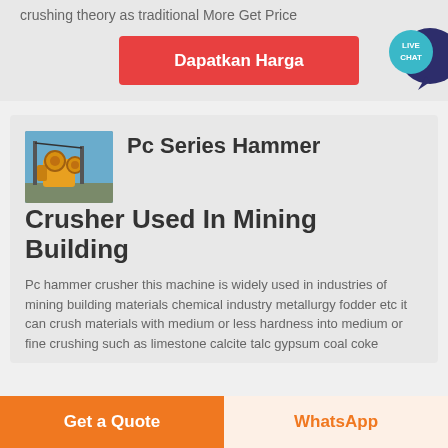crushing theory as traditional More Get Price
Dapatkan Harga
[Figure (logo): Live Chat speech bubble icon with dark navy and teal colors, text LIVE CHAT]
[Figure (photo): Photo of a yellow hammer crusher machine outdoors against blue sky]
Pc Series Hammer Crusher Used In Mining Building
Pc hammer crusher this machine is widely used in industries of mining building materials chemical industry metallurgy fodder etc it can crush materials with medium or less hardness into medium or fine crushing such as limestone calcite talc gypsum coal coke
Get a Quote
WhatsApp